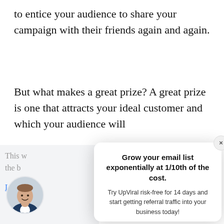to entice your audience to share your campaign with their friends again and again.
But what makes a great prize? A great prize is one that attracts your ideal customer and which your audience will
This ... the b... Learn
[Figure (photo): Circular avatar photo of a man in a suit, smiling]
Grow your email list exponentially at 1/10th of the cost.
Try UpViral risk-free for 14 days and start getting referral traffic into your business today!
Yes, I want more leads!